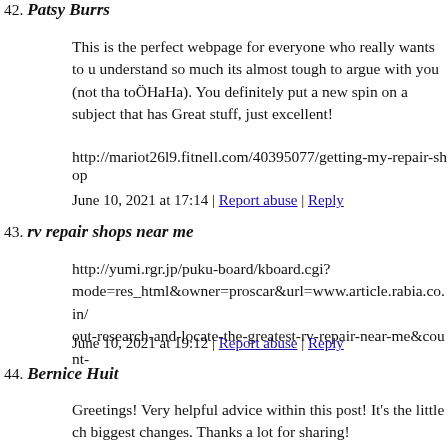42. Patsy Burrs
This is the perfect webpage for everyone who really wants to understand so much its almost tough to argue with you (not that toÖHaHa). You definitely put a new spin on a subject that has Great stuff, just excellent!
http://mariot26l9.fitnell.com/40395077/getting-my-repair-shop
June 10, 2021 at 17:14 | Report abuse | Reply
43. rv repair shops near me
http://yumi.rgr.jp/puku-board/kboard.cgi?mode=res_html&owner=proscar&url=www.article.rabia.co.in/out-research-and-locate-the-greatest-rv-repair-near-me&count-
June 10, 2021 at 19:12 | Report abuse | Reply
44. Bernice Huit
Greetings! Very helpful advice within this post! It's the little changes. Thanks a lot for sharing!
June 10, 2021 at 20:04 | Report abuse | Reply
45. Rebecca Rancifer
https://www.fhwa.dot.gov/reauthorization/reauexit.cfm?